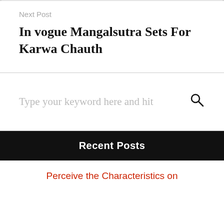Next Post
In vogue Mangalsutra Sets For Karwa Chauth
Type your keyword here and hit
Recent Posts
Perceive the Characteristics on